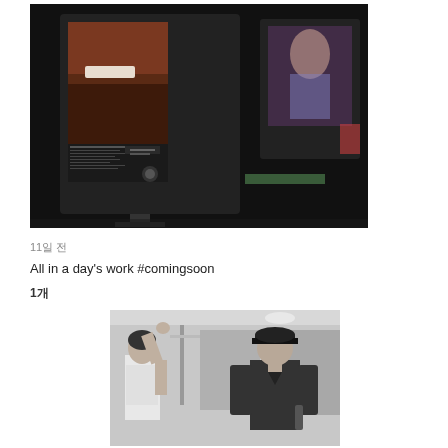[Figure (photo): Photo of a computer monitor displaying photo editing software (appears to be Photoshop) with a close-up image of a bearded man's face on the screen. The monitor is shown at an angle in a dark environment with another monitor visible in the background.]
11일 전
All in a day's work #comingsoon
1개
[Figure (photo): Black and white photo of two people in what appears to be a gym or studio setting. A woman on the left is raising her arm/hand, and a man on the right wearing a cap and dark fitted shirt is standing nearby.]